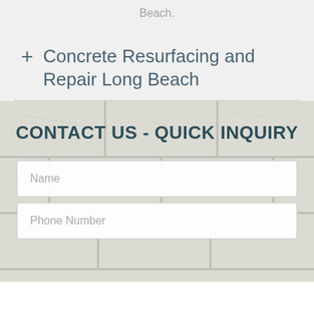Beach.
+ Concrete Resurfacing and Repair Long Beach
CONTACT US - QUICK INQUIRY
Name
Phone Number